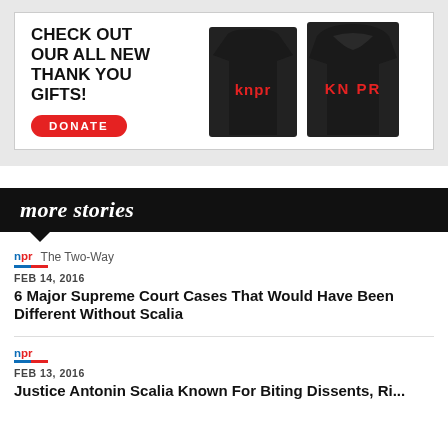[Figure (infographic): KNPR promotional ad banner with text 'CHECK OUT OUR ALL NEW THANK YOU GIFTS!' and a red DONATE button, alongside images of a black t-shirt and black hoodie both with KNPR logo in red]
more stories
npr The Two-Way
FEB 14, 2016
6 Major Supreme Court Cases That Would Have Been Different Without Scalia
npr
FEB 13, 2016
Justice Antonin Scalia Known For Biting Dissents, Ri...